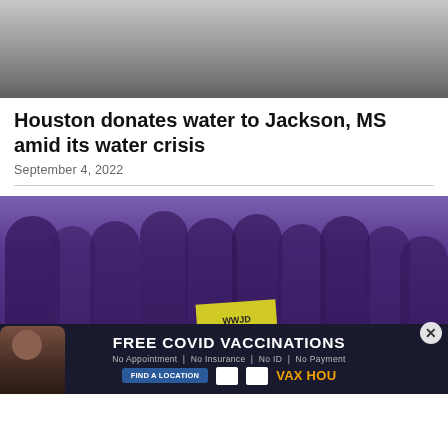[Figure (photo): Top portion of a road or asphalt surface photo, partially visible at top of page]
Houston donates water to Jackson, MS amid its water crisis
September 4, 2022
[Figure (photo): Crowd of people wearing purple t-shirts marching. One person holds a yellow sign reading 'WWJD'. People appear to be from St. Augustine.]
[Figure (infographic): Advertisement banner: FREE COVID VACCINATIONS. No Appointment | No Insurance | No ID | No Payment. FIND A LOCATION. VAX HOU. Shows a woman and logos.]